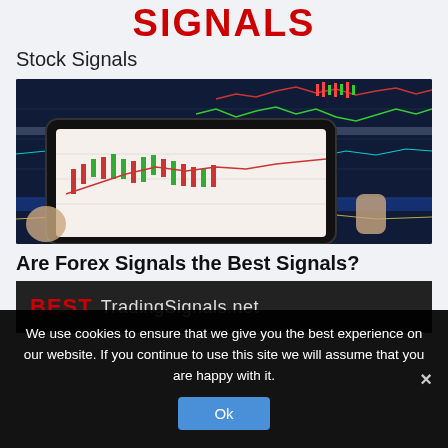SIGNALS
Stock Signals
[Figure (photo): Person holding a tablet displaying stock trading charts, with a dark monitor showing colorful stock trading charts in the background]
Are Forex Signals the Best Signals?
[Figure (photo): Dark banner image with red bold text BEST and grey text TradingSignals.net]
We use cookies to ensure that we give you the best experience on our website. If you continue to use this site we will assume that you are happy with it.